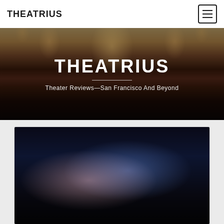THEATRIUS
THEATRIUS
Theater Reviews—San Francisco And Beyond
[Figure (photo): Two actors in an embrace on a dark stage, one in a blue shirt and one in a pink/orange top, lit with blue and warm stage lighting]